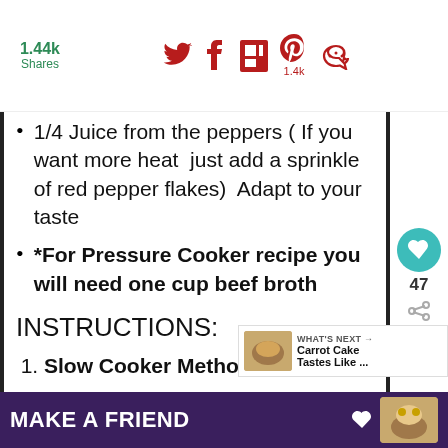1.44k Shares [Twitter] [Facebook] [Flipboard] [Pinterest 1.4k] [Share]
1/4 Juice from the peppers ( If you want more heat  just add a sprinkle of red pepper flakes)  Adapt to your taste
*For Pressure Cooker recipe you will need one cup beef broth
INSTRUCTIONS:
Slow Cooker Method
Place roast in the slow cooker and sprinkle the ranch and Au Jus packets and garlic powder on top.
Add butter on top of the roast and place